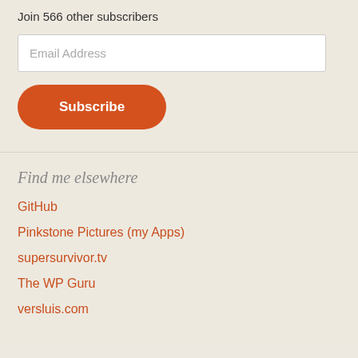Join 566 other subscribers
Email Address
Subscribe
Find me elsewhere
GitHub
Pinkstone Pictures (my Apps)
supersurvivor.tv
The WP Guru
versluis.com